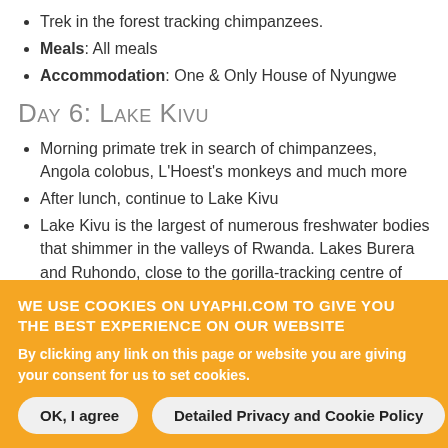Trek in the forest tracking chimpanzees.
Meals: All meals
Accommodation: One & Only House of Nyungwe
Day 6: Lake Kivu
Morning primate trek in search of chimpanzees, Angola colobus, L'Hoest's monkeys and much more
After lunch, continue to Lake Kivu
Lake Kivu is the largest of numerous freshwater bodies that shimmer in the valleys of Rwanda. Lakes Burera and Ruhondo, close to the gorilla-tracking centre of Ruhengeri, are oft-neglected gems, deep blue waters ringed by steep hills and tall waterfalls, with the nearby Virunga Volcanoes providing a spectacular backdrop.
WE USE COOKIES ON UYAPHI.COM TO GIVE YOU THE BEST EXPERIENCE ON OUR WEBSITE
By clicking any link on this page or website you are giving your consent for us to set cookies.